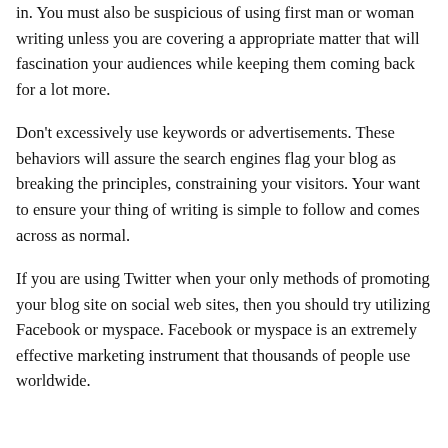in. You must also be suspicious of using first man or woman writing unless you are covering a appropriate matter that will fascination your audiences while keeping them coming back for a lot more.
Don't excessively use keywords or advertisements. These behaviors will assure the search engines flag your blog as breaking the principles, constraining your visitors. Your want to ensure your thing of writing is simple to follow and comes across as normal.
If you are using Twitter when your only methods of promoting your blog site on social web sites, then you should try utilizing Facebook or myspace. Facebook or myspace is an extremely effective marketing instrument that thousands of people use worldwide.